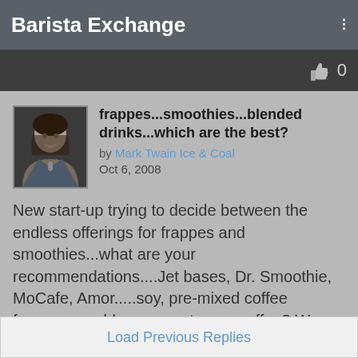Barista Exchange
frappes...smoothies...blended drinks...which are the best?
by Mark Twain Ice & Coal
Oct 6, 2008
New start-up trying to decide between the endless offerings for frappes and smoothies...what are your recommendations....Jet bases, Dr. Smoothie, MoCafe, Amor.....soy, pre-mixed coffee frappes or add your own to non coffee? We are looking for great quality but would love to keep it SIMPLE....is there an all in 1 you can just add sauces and coffee to including a Green Tea powder? Please Respond. Thanks!!!!!!
Mark Twain Ice & Coal
Load Previous Replies